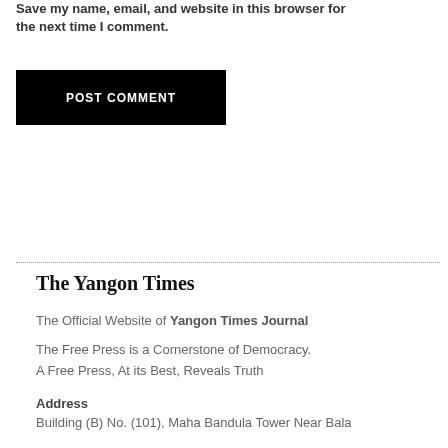Save my name, email, and website in this browser for the next time I comment.
POST COMMENT
The Yangon Times
The Official Website of Yangon Times Journal
The Free Press is a Cornerstone of Democracy.
A Free Press, At its Best, Reveals Truth
Address
Building (B) No. (101), Maha Bandula Tower Near Bala